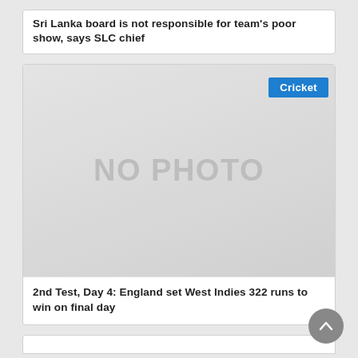Sri Lanka board is not responsible for team's poor show, says SLC chief
[Figure (photo): Placeholder image with NO PHOTO text, with a Cricket category badge in the top right corner]
2nd Test, Day 4: England set West Indies 322 runs to win on final day